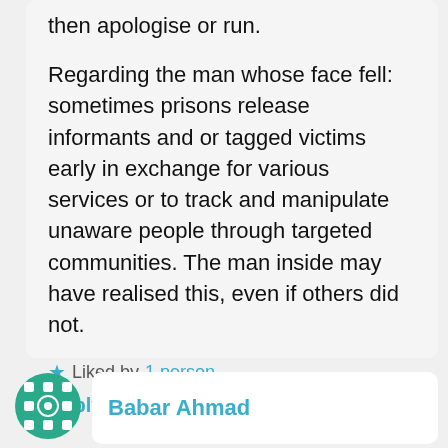then apologise or run.

Regarding the man whose face fell: sometimes prisons release informants and or tagged victims early in exchange for various services or to track and manipulate unaware people through targeted communities. The man inside may have realised this, even if others did not.
Liked by 1 person
Reply
Babar Ahmad